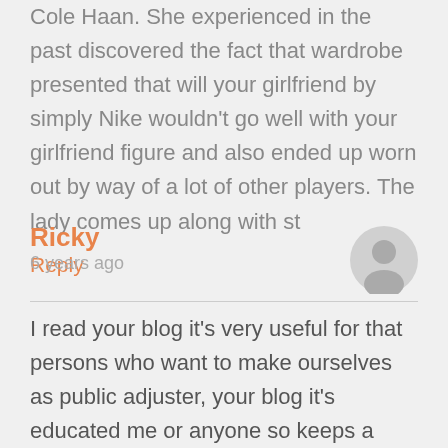Cole Haan. She experienced in the past discovered the fact that wardrobe presented that will your girlfriend by simply Nike wouldn't go well with your girlfriend figure and also ended up worn out by way of a lot of other players. The lady comes up along with st
Reply
Ricky
6 years ago
I read your blog it's very useful for that persons who want to make ourselves as public adjuster, your blog it's educated me or anyone so keeps a blog more and more on